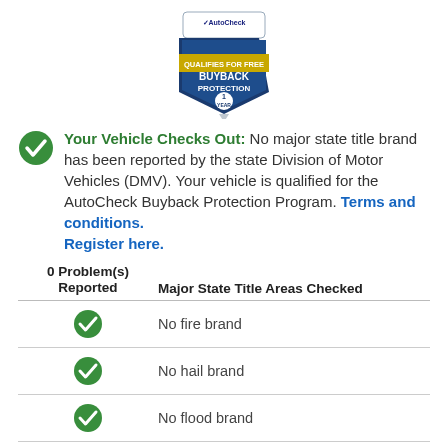[Figure (logo): AutoCheck badge - Qualifies for Free Buyback Protection 1 Year shield logo]
Your Vehicle Checks Out: No major state title brand has been reported by the state Division of Motor Vehicles (DMV). Your vehicle is qualified for the AutoCheck Buyback Protection Program. Terms and conditions. Register here.
| 0 Problem(s) Reported | Major State Title Areas Checked |
| --- | --- |
| ✓ | No fire brand |
| ✓ | No hail brand |
| ✓ | No flood brand |
| ✓ | No junk or scrapped brand |
| ✓ | No manufacturer buyback |